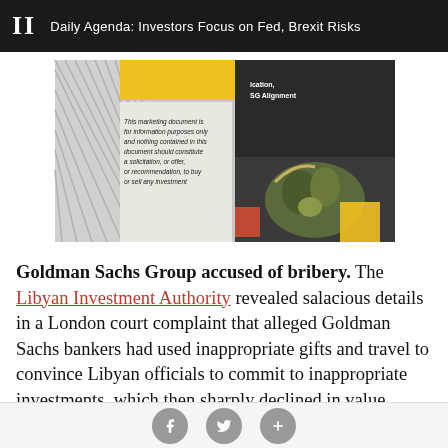II  Daily Agenda: Investors Focus on Fed, Brexit Risks
[Figure (photo): Marketing document image showing a grocery/investment brochure with text 'This marketing document is for information purposes only and nothing contained in this document should constitute a solicitation, or offer, or recommendation, to buy or sell any investment' alongside a photo of vegetables in a bag, with yellow and colorful geometric elements]
Goldman Sachs Group accused of bribery. The Libyan Investment Authority revealed salacious details in a London court complaint that alleged Goldman Sachs bankers had used inappropriate gifts and travel to convince Libyan officials to commit to inappropriate investments, which then sharply declined in value during the credit crisis. Total alleged losses to the Libyan Investment Authority exceeded $1 billion, according to
Social sharing icons: Facebook, Twitter, Plus